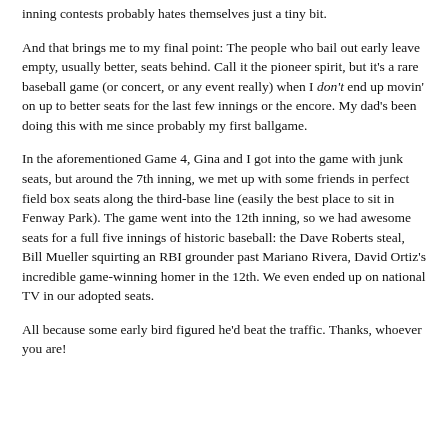inning contests probably hates themselves just a tiny bit.
And that brings me to my final point: The people who bail out early leave empty, usually better, seats behind. Call it the pioneer spirit, but it's a rare baseball game (or concert, or any event really) when I don't end up movin' on up to better seats for the last few innings or the encore. My dad's been doing this with me since probably my first ballgame.
In the aforementioned Game 4, Gina and I got into the game with junk seats, but around the 7th inning, we met up with some friends in perfect field box seats along the third-base line (easily the best place to sit in Fenway Park). The game went into the 12th inning, so we had awesome seats for a full five innings of historic baseball: the Dave Roberts steal, Bill Mueller squirting an RBI grounder past Mariano Rivera, David Ortiz's incredible game-winning homer in the 12th. We even ended up on national TV in our adopted seats.
All because some early bird figured he'd beat the traffic. Thanks, whoever you are!